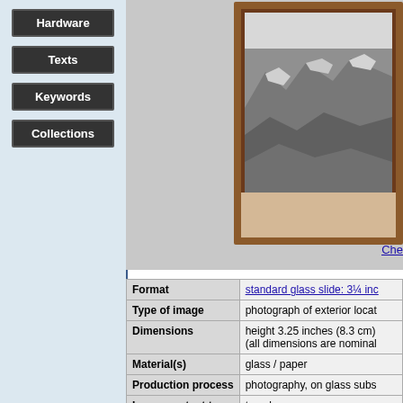Hardware
Texts
Keywords
Collections
[Figure (photo): A framed black and white photograph of rocky exterior location, shown in a wooden/brown frame mounted on a light background. Only the right portion of the image is visible.]
Che
| Field | Value |
| --- | --- |
| Format | standard glass slide: 3¼ inc |
| Type of image | photograph of exterior locat |
| Dimensions | height 3.25 inches (8.3 cm)
(all dimensions are nominal |
| Material(s) | glass / paper |
| Production process | photography, on glass subs |
| Image content tag | temple |
| Collections | Example in Chetham's Libra |